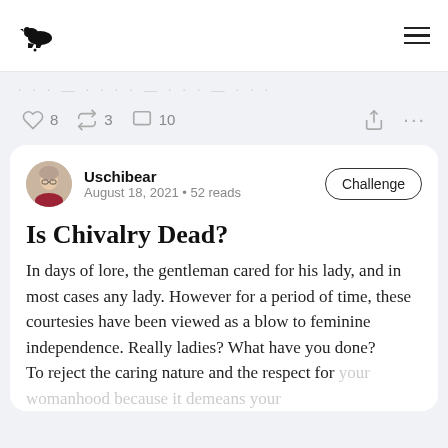Vocal Media navigation bar with logo and menu icon
· · · — · · · · — · · · — · · ·
♡ 8  ⇄ 3  □ 10
Uschibear
August 18, 2021 • 52 reads
Is Chivalry Dead?
In days of lore, the gentleman cared for his lady, and in most cases any lady. However for a period of time, these courtesies have been viewed as a blow to feminine independence. Really ladies? What have you done?
To reject the caring nature and the respect for your womanhood because it demeans your